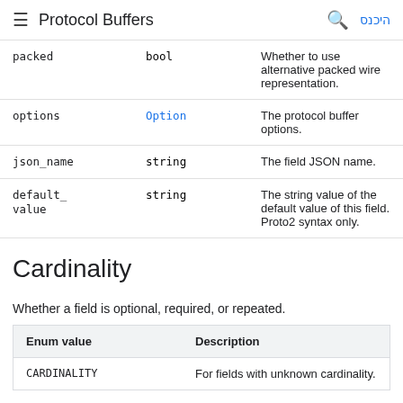Protocol Buffers
| Name | Type | Description |
| --- | --- | --- |
| packed | bool | Whether to use alternative packed wire representation. |
| options | Option | The protocol buffer options. |
| json_name | string | The field JSON name. |
| default_
value | string | The string value of the default value of this field. Proto2 syntax only. |
Cardinality
Whether a field is optional, required, or repeated.
| Enum value | Description |
| --- | --- |
| CARDINALITY | For fields with unknown cardinality. |